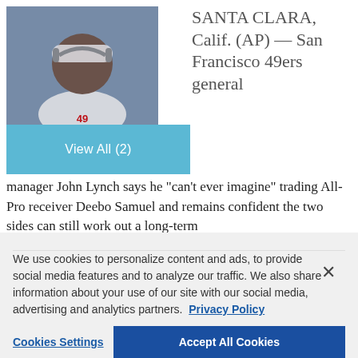[Figure (photo): Photo of a San Francisco 49ers player wearing white uniform with headphones, looking forward]
View All (2)
SANTA CLARA, Calif. (AP) — San Francisco 49ers general manager John Lynch says he “can’t ever imagine” trading All-Pro receiver Deebo Samuel and remains confident the two sides can still work out a long-term
We use cookies to personalize content and ads, to provide social media features and to analyze our traffic. We also share information about your use of our site with our social media, advertising and analytics partners.  Privacy Policy
Cookies Settings
Accept All Cookies